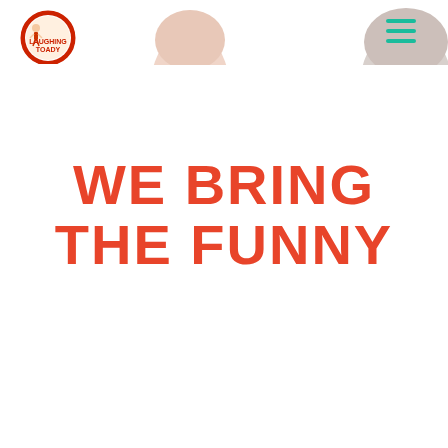[Figure (logo): Laughing Toady comedy entertainment logo — cartoon character inside a red circle with text]
[Figure (photo): Top of a person's head (light skin, blonde/light hair) visible peeking from top center of page]
[Figure (photo): Top of a person's head (grey/light) visible peeking from top right of page — partially cut off]
[Figure (infographic): Teal/green hamburger menu icon (three horizontal lines)]
We Bring The funny